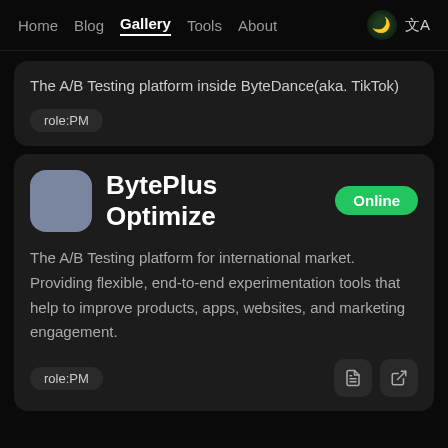Home  Blog  Gallery  Tools  About
The A/B Testing platform inside ByteDance(aka. TikTok)
role:PM
BytePlus Optimize
The A/B Testing platform for international market. Providing flexible, end-to-end experimentation tools that help to improve products, apps, websites, and marketing engagement.
role:PM